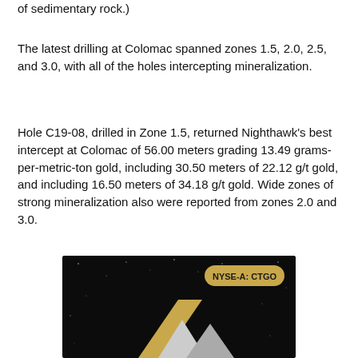of sedimentary rock.)
The latest drilling at Colomac spanned zones 1.5, 2.0, 2.5, and 3.0, with all of the holes intercepting mineralization.
Hole C19-08, drilled in Zone 1.5, returned Nighthawk's best intercept at Colomac of 56.00 meters grading 13.49 grams-per-metric-ton gold, including 30.50 meters of 22.12 g/t gold, and including 16.50 meters of 34.18 g/t gold. Wide zones of strong mineralization also were reported from zones 2.0 and 3.0.
[Figure (logo): Nighthawk Gold company logo on dark starfield background with NYSE-A: CTGO badge]